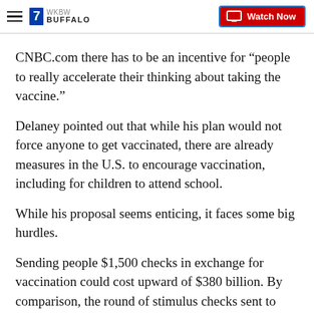7 Buffalo | Watch Now
CNBC.com there has to be an incentive for “people to really accelerate their thinking about taking the vaccine.”
Delaney pointed out that while his plan would not force anyone to get vaccinated, there are already measures in the U.S. to encourage vaccination, including for children to attend school.
While his proposal seems enticing, it faces some big hurdles.
Sending people $1,500 checks in exchange for vaccination could cost upward of $380 billion. By comparison, the round of stimulus checks sent to